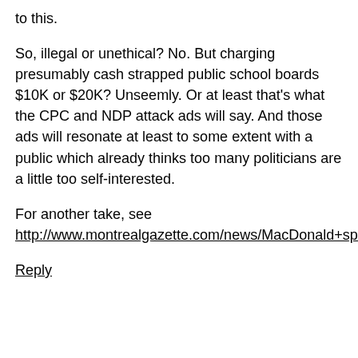to this.
So, illegal or unethical? No. But charging presumably cash strapped public school boards $10K or $20K? Unseemly. Or at least that's what the CPC and NDP attack ads will say. And those ads will resonate at least to some extent with a public which already thinks too many politicians are a little too self-interested.
For another take, see http://www.montrealgazette.com/news/MacDonald+speaking+fees+Justin+Trudeau+makes+unforced+error/7986003/story.html
Reply